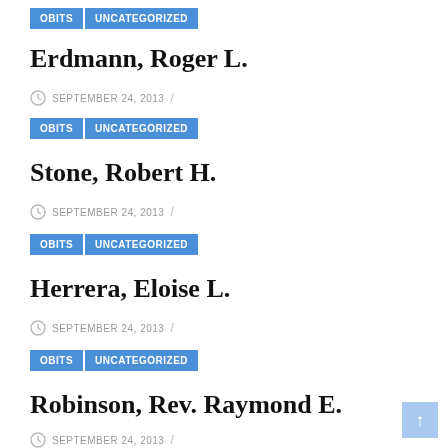OBITS | UNCATEGORIZED
Erdmann, Roger L.
SEPTEMBER 24, 2013 /
OBITS | UNCATEGORIZED
Stone, Robert H.
SEPTEMBER 24, 2013 /
OBITS | UNCATEGORIZED
Herrera, Eloise L.
SEPTEMBER 24, 2013 /
OBITS | UNCATEGORIZED
Robinson, Rev. Raymond E.
SEPTEMBER 24, 2013 /